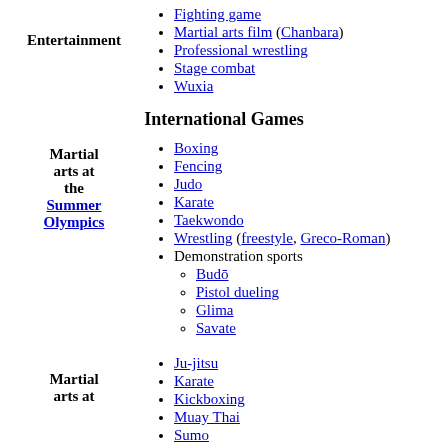Fighting game
Martial arts film (Chanbara)
Professional wrestling
Stage combat
Wuxia
International Games
Boxing
Fencing
Judo
Karate
Taekwondo
Wrestling (freestyle, Greco-Roman)
Demonstration sports
Budō
Pistol dueling
Glima
Savate
Ju-jitsu
Karate
Kickboxing
Muay Thai
Sumo